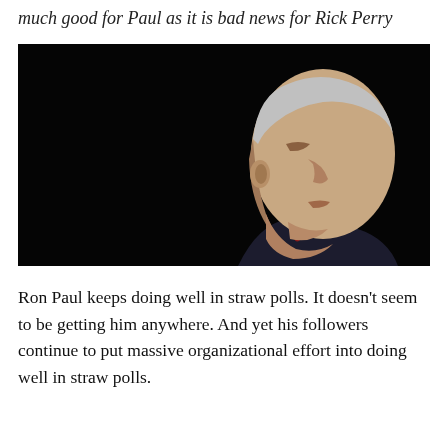the upshot of the Texas conservative conference isn't as much good for Paul as it is bad news for Rick Perry
[Figure (photo): Close-up profile photo of Ron Paul against a dark/black background, wearing a dark suit and red tie, facing right]
Ron Paul keeps doing well in straw polls. It doesn't seem to be getting him anywhere. And yet his followers continue to put massive organizational effort into doing well in straw polls.